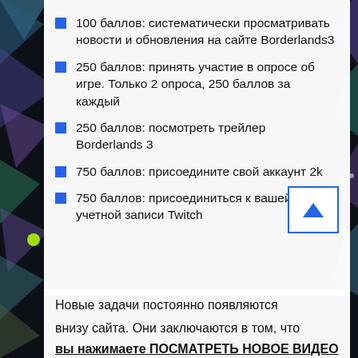100 баллов: систематически просматривать новости и обновления на сайте Borderlands3
250 баллов: принять участие в опросе об игре. Только 2 опроса, 250 баллов за каждый
250 баллов: посмотреть трейлер Borderlands 3
750 баллов: присоедините свой аккаунт 2k
750 баллов: присоединиться к вашей учетной записи Twitch
Новые задачи постоянно появляются

внизу сайта. Они заключаются в том, что вы нажимаете ПОСМАТРЕТЬ НОВОЕ ВИДЕО о